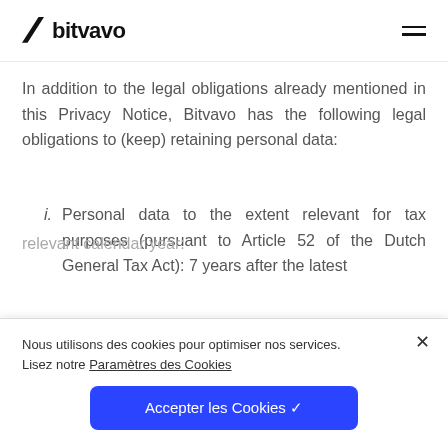bitvavo
In addition to the legal obligations already mentioned in this Privacy Notice, Bitvavo has the following legal obligations to (keep) retaining personal data:
i. Personal data to the extent relevant for tax purposes (pursuant to Article 52 of the Dutch General Tax Act): 7 years after the latest relevant calendar year:
Nous utilisons des cookies pour optimiser nos services. Lisez notre Paramètres des Cookies
Accepter les Cookies ✓